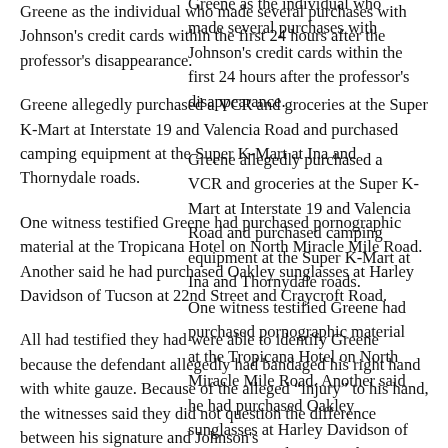Greene as the individual who made several purchases with Johnson's credit cards within the first 24 hours after the professor's disappearance.
Greene allegedly purchased a VCR and groceries at the Super K-Mart at Interstate 19 and Valencia Road and purchased camping equipment at the Super K-Mart at Ina and Thornydale roads.
One witness testified Greene had purchased pornographic material at the Tropicana Hotel on North Miracle Mile Road. Another said he had purchased Oakley sunglasses at Harley Davidson of Tucson at 22nd Street and Craycroft Road.
All had testified they had were able to identify Greene because the defendant allegedly had bandaged his right hand with white gauze. Because of the alleged "injury" to his hand, the witnesses said they did not question the difference between his signature and Johnson's